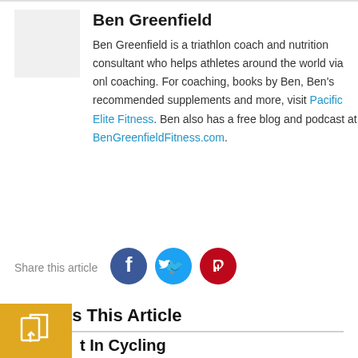Ben Greenfield
Ben Greenfield is a triathlon coach and nutrition consultant who helps athletes around the world via online coaching. For coaching, books by Ben, Ben's recommended supplements and more, visit Pacific Elite Fitness. Ben also has a free blog and podcast at BenGreenfieldFitness.com.
Share this article
Discuss This Article
[Figure (other): Share icon in orange/yellow square box]